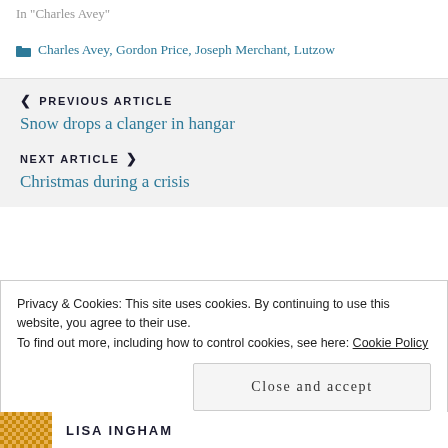In "Charles Avey"
Charles Avey, Gordon Price, Joseph Merchant, Lutzow
❮ PREVIOUS ARTICLE
Snow drops a clanger in hangar
NEXT ARTICLE ❯
Christmas during a crisis
Privacy & Cookies: This site uses cookies. By continuing to use this website, you agree to their use.
To find out more, including how to control cookies, see here: Cookie Policy
Close and accept
LISA INGHAM